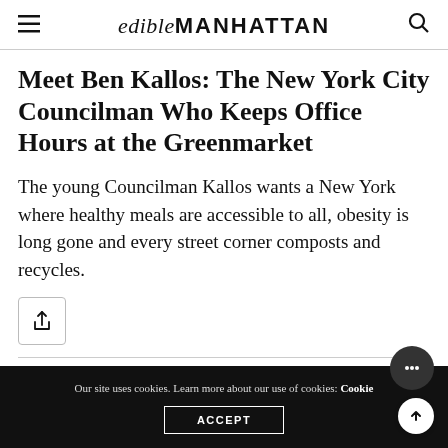edibleMANHATTAN
Meet Ben Kallos: The New York City Councilman Who Keeps Office Hours at the Greenmarket
The young Councilman Kallos wants a New York where healthy meals are accessible to all, obesity is long gone and every street corner composts and recycles.
[Figure (other): Share button icon]
Our site uses cookies. Learn more about our use of cookies: Cookie Policy ACCEPT